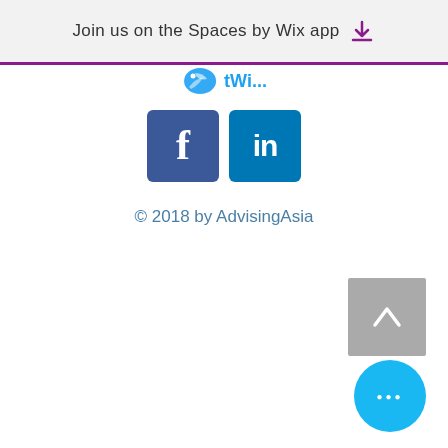Join us on the Spaces by Wix app
[Figure (logo): Twitter bird icon with partial text]
[Figure (logo): Facebook and LinkedIn social media icons]
© 2018 by AdvisingAsia
[Figure (other): Back to top button (grey square with upward chevron)]
[Figure (other): More options button (blue circle with three dots)]